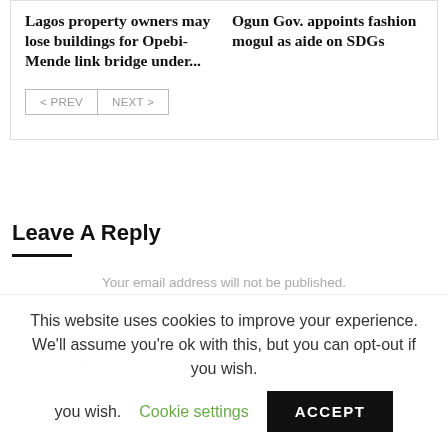Lagos property owners may lose buildings for Opebi-Mende link bridge under...
Ogun Gov. appoints fashion mogul as aide on SDGs
< PREV   NEXT >
Leave A Reply
Your email address will not be published.
Your Comment
This website uses cookies to improve your experience. We'll assume you're ok with this, but you can opt-out if you wish.  Cookie settings  ACCEPT